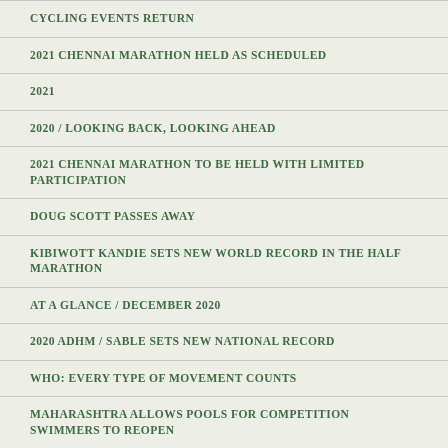CYCLING EVENTS RETURN
2021 CHENNAI MARATHON HELD AS SCHEDULED
2021
2020 / LOOKING BACK, LOOKING AHEAD
2021 CHENNAI MARATHON TO BE HELD WITH LIMITED PARTICIPATION
DOUG SCOTT PASSES AWAY
KIBIWOTT KANDIE SETS NEW WORLD RECORD IN THE HALF MARATHON
AT A GLANCE / DECEMBER 2020
2020 ADHM / SABLE SETS NEW NATIONAL RECORD
WHO: EVERY TYPE OF MOVEMENT COUNTS
MAHARASHTRA ALLOWS POOLS FOR COMPETITION SWIMMERS TO REOPEN
ADHM TO RUN WITH NEW NORMAL MIX: ELITES-ONLY RACE + VIRTUAL
AT A GLANCE / NOVEMBER 2020